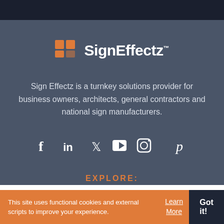[Figure (logo): SignEffectz logo with orange square icon and white bold text]
Sign Effectz is a turnkey solutions provider for business owners, architects, general contractors and national sign manufacturers.
[Figure (infographic): Social media icons: Facebook, LinkedIn, Twitter, YouTube, Instagram, Pinterest]
EXPLORE:
This site uses functional cookies and external scripts to improve your experience.
Learn More
Got it!